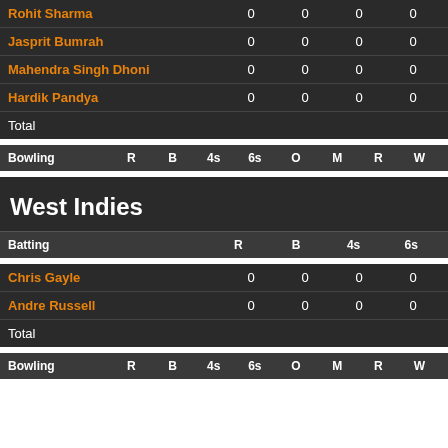|  |  |  | R | B | 4s | 6s |
| --- | --- | --- | --- | --- | --- | --- |
| Rohit Sharma |  |  | 0 | 0 | 0 | 0 |
| Jasprit Bumrah |  |  | 0 | 0 | 0 | 0 |
| Mahendra Singh Dhoni |  |  | 0 | 0 | 0 | 0 |
| Hardik Pandya |  |  | 0 | 0 | 0 | 0 |
| Total |  |  |  |  |  |  |
| Bowling | R | B | 4s | 6s | O | M | R | W |
| --- | --- | --- | --- | --- | --- | --- | --- | --- |
West Indies
| Batting |  |  | R | B | 4s | 6s |
| --- | --- | --- | --- | --- | --- | --- |
| Chris Gayle |  |  | 0 | 0 | 0 | 0 |
| Andre Russell |  |  | 0 | 0 | 0 | 0 |
| Total |  |  |  |  |  |  |
| Bowling | R | B | 4s | 6s | O | M | R | W |
| --- | --- | --- | --- | --- | --- | --- | --- | --- |